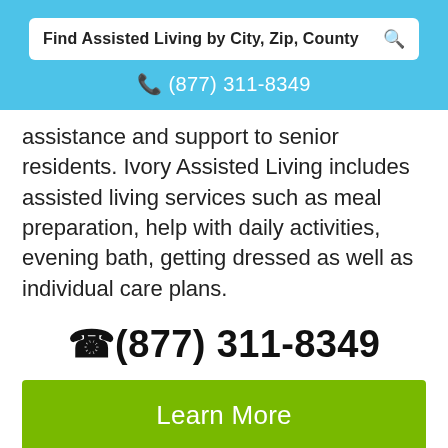Find Assisted Living by City, Zip, County
(877) 311-8349
assistance and support to senior residents. Ivory Assisted Living includes assisted living services such as meal preparation, help with daily activities, evening bath, getting dressed as well as individual care plans.
(877) 311-8349
Learn More
View Pricing & Availability